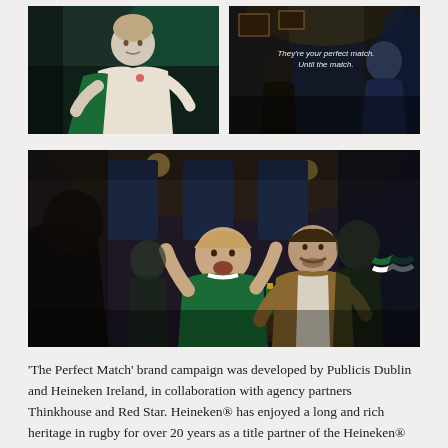[Figure (photo): Left photo: person in white rugby jersey holding a drink in a dimly lit bar/pub setting with green lighting]
[Figure (photo): Right photo: dark pub interior with text overlay reading 'They're your perfect match. Until the match.']
[Figure (photo): Large main photo: two rugby fans (one in green Irish jersey, one in white English jersey) celebrating in a pub, laughing and cheering with drinks on table]
‘The Perfect Match’ brand campaign was developed by Publicis Dublin and Heineken Ireland, in collaboration with agency partners Thinkhouse and Red Star. Heineken® has enjoyed a long and rich heritage in rugby for over 20 years as a title partner of the Heineken® Champions Cup.